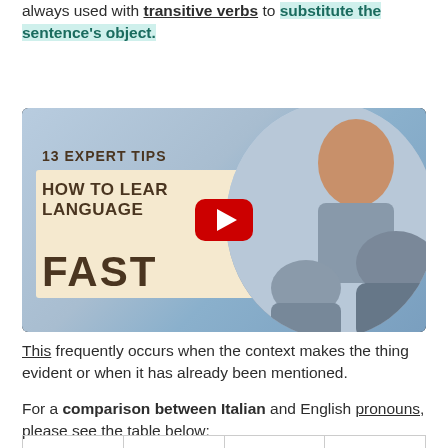always used with transitive verbs to substitute the sentence's object.
[Figure (screenshot): YouTube video thumbnail titled '13 Expert Tips: How to Learn Language Fast' showing two people in conversation]
This frequently occurs when the context makes the thing evident or when it has already been mentioned.
For a comparison between Italian and English pronouns, please see the table below: